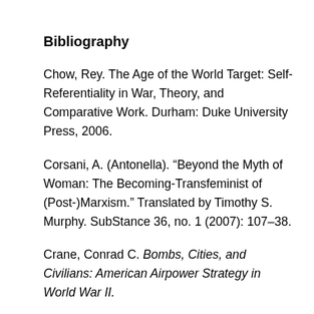Bibliography
Chow, Rey. The Age of the World Target: Self-Referentiality in War, Theory, and Comparative Work. Durham: Duke University Press, 2006.
Corsani, A. (Antonella). “Beyond the Myth of Woman: The Becoming-Transfeminist of (Post-)Marxism.” Translated by Timothy S. Murphy. SubStance 36, no. 1 (2007): 107–38.
Crane, Conrad C. Bombs, Cities, and Civilians: American Airpower Strategy in World War II.